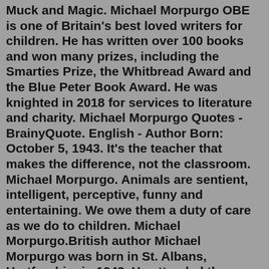Muck and Magic. Michael Morpurgo OBE is one of Britain's best loved writers for children. He has written over 100 books and won many prizes, including the Smarties Prize, the Whitbread Award and the Blue Peter Book Award. He was knighted in 2018 for services to literature and charity. Michael Morpurgo Quotes - BrainyQuote. English - Author Born: October 5, 1943. It's the teacher that makes the difference, not the classroom. Michael Morpurgo. Animals are sentient, intelligent, perceptive, funny and entertaining. We owe them a duty of care as we do to children. Michael Morpurgo.British author Michael Morpurgo was born in St. Albans, Hertforshire in 1943. He attended the University of London and studied English and French. He became a primary school teacher in Kent for about ten years. He and his wife Clare started a charity called Farms for City Children. They currently own three farms where over 2000 children a year stay for a week and experience the countryside by ...Michael Morpurgo OBE is one of Britain's best loved writers for